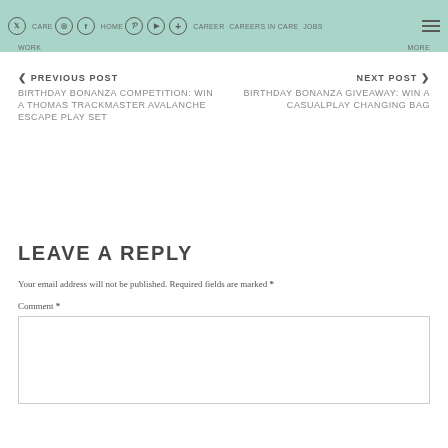CARE HOME CAREER CAREERS IN CARE JOBS WORK [social icons: Twitter, Instagram, Facebook, Pinterest, YouTube, Plus]
< PREVIOUS POST
BIRTHDAY BONANZA COMPETITION: WIN A THOMAS TRACKMASTER AVALANCHE ESCAPE PLAY SET
NEXT POST >
BIRTHDAY BONANZA GIVEAWAY: WIN A CASUALPLAY CHANGING BAG
LEAVE A REPLY
Your email address will not be published. Required fields are marked *
Comment *